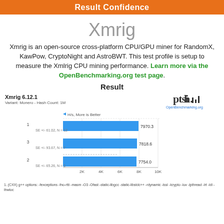Result Confidence
Xmrig
Xmrig is an open-source cross-platform CPU/GPU miner for RandomX, KawPow, CryptoNight and AstroBWT. This test profile is setup to measure the Xmlrig CPU mining performance. Learn more via the OpenBenchmarking.org test page.
Result
[Figure (bar-chart): Xmrig 6.12.1 - Variant: Monero - Hash Count: 1M]
1. (CXX) g++ options: -fexceptions -fno-rtti -masm -O3 -Ofast -static-libgcc -static-libstdc++ -rdynamic -lssl -lcrypto -luv -lpthread -lrt -ldl -lhwloc